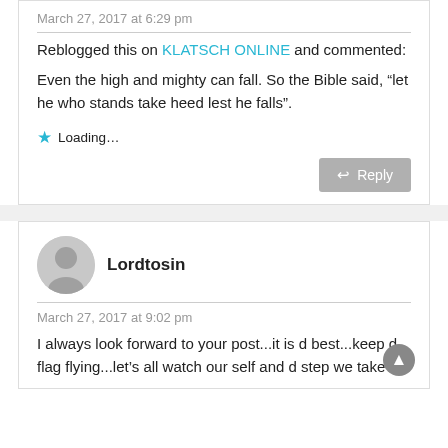March 27, 2017 at 6:29 pm
Reblogged this on KLATSCH ONLINE and commented:
Even the high and mighty can fall. So the Bible said, “let he who stands take heed lest he falls”.
Loading...
Reply
Lordtosin
March 27, 2017 at 9:02 pm
I always look forward to your post...it is d best...keep d flag flying...let's all watch our self and d step we take